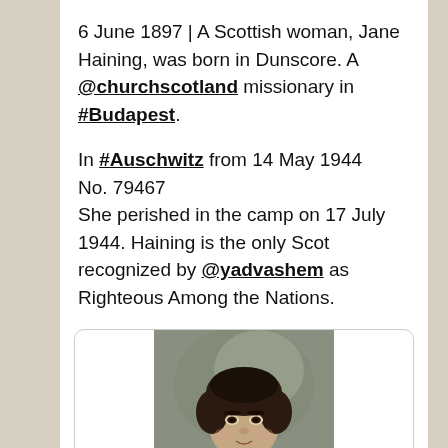6 June 1897 | A Scottish woman, Jane Haining, was born in Dunscore. A @churchscotland missionary in #Budapest.

In #Auschwitz from 14 May 1944
No. 79467
She perished in the camp on 17 July 1944. Haining is the only Scot recognized by @yadvashem as Righteous Among the Nations.
[Figure (photo): Black and white portrait photograph of Jane Haining, a woman with dark hair, looking slightly to the side.]